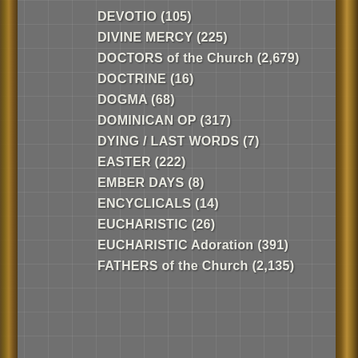DEVOTIO (105)
DIVINE MERCY (225)
DOCTORS of the Church (2,679)
DOCTRINE (16)
DOGMA (68)
DOMINICAN OP (317)
DYING / LAST WORDS (7)
EASTER (222)
EMBER DAYS (8)
ENCYCLICALS (14)
EUCHARISTIC (26)
EUCHARISTIC Adoration (391)
FATHERS of the Church (2,135)